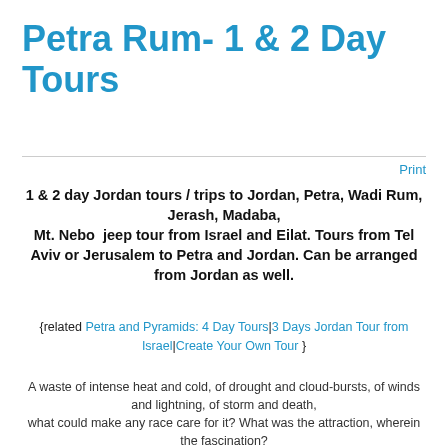Petra Rum- 1 & 2 Day Tours
Print
1 & 2 day Jordan tours / trips to Jordan, Petra, Wadi Rum, Jerash, Madaba, Mt. Nebo  jeep tour from Israel and Eilat. Tours from Tel Aviv or Jerusalem to Petra and Jordan. Can be arranged from Jordan as well.
{related Petra and Pyramids: 4 Day Tours|3 Days Jordan Tour from Israel|Create Your Own Tour }
A waste of intense heat and cold, of drought and cloud-bursts, of winds and lightning, of storm and death, what could make any race care for it? What was the attraction, wherein the fascination?
The Desert / John C. Van Dyke- 1911